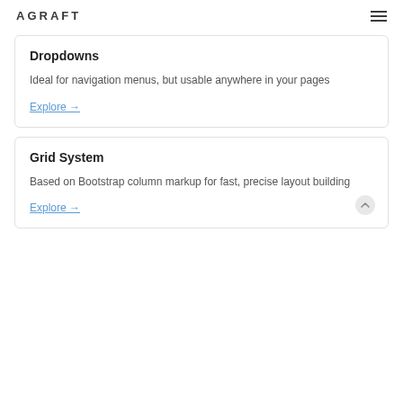AGRAFT
Dropdowns
Ideal for navigation menus, but usable anywhere in your pages
Explore →
Grid System
Based on Bootstrap column markup for fast, precise layout building
Explore →